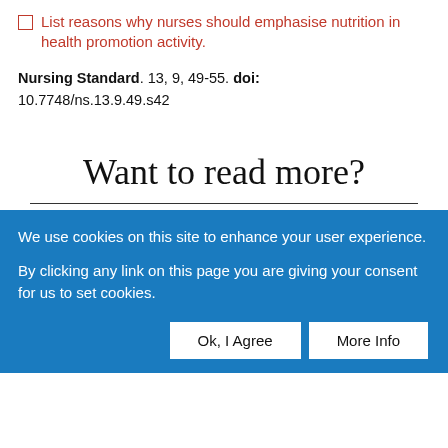List reasons why nurses should emphasise nutrition in health promotion activity.
Nursing Standard. 13, 9, 49-55. doi: 10.7748/ns.13.9.49.s42
Want to read more?
We use cookies on this site to enhance your user experience.
By clicking any link on this page you are giving your consent for us to set cookies.